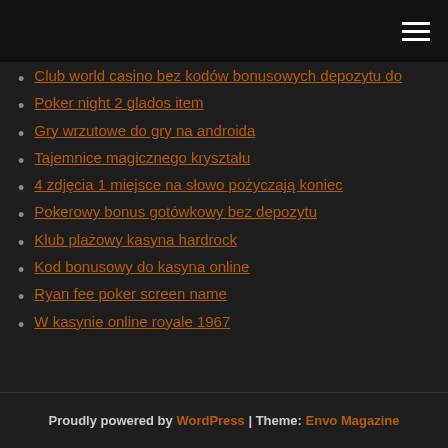Club world casino bez kodów bonusowych depozytu do
Poker night 2 glados item
Gry wrzutowe do gry na androida
Tajemnice magicznego kryształu
4 zdjęcia 1 miejsce na słowo pożyczają koniec
Pokerowy bonus gotówkowy bez depozytu
Klub plażowy kasyna hardrock
Kod bonusowy do kasyna online
Ryan fee poker screen name
W kasynie online royale 1967
Proudly powered by WordPress | Theme: Envo Magazine